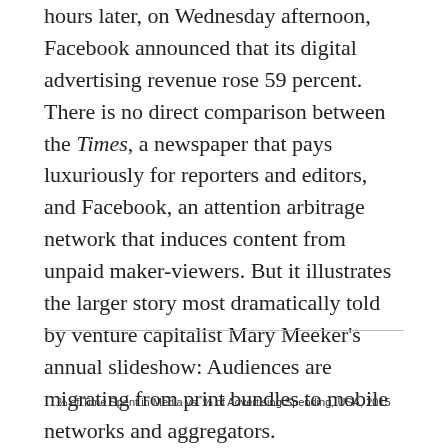hours later, on Wednesday afternoon, Facebook announced that its digital advertising revenue rose 59 percent. There is no direct comparison between the Times, a newspaper that pays luxuriously for reporters and editors, and Facebook, an attention arbitrage network that induces content from unpaid maker-viewers. But it illustrates the larger story most dramatically told by venture capitalist Mary Meeker's annual slideshow: Audiences are migrating from print bundles to mobile networks and aggregators.
% of Time Spent in Media vs. % of Advertising Spending, USA, 2015